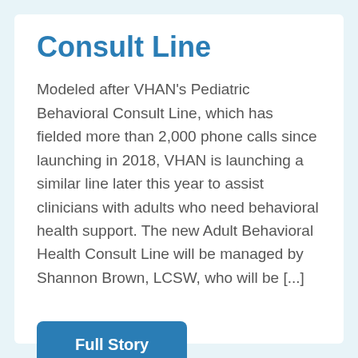Consult Line
Modeled after VHAN's Pediatric Behavioral Consult Line, which has fielded more than 2,000 phone calls since launching in 2018, VHAN is launching a similar line later this year to assist clinicians with adults who need behavioral health support. The new Adult Behavioral Health Consult Line will be managed by Shannon Brown, LCSW, who will be [...]
Full Story